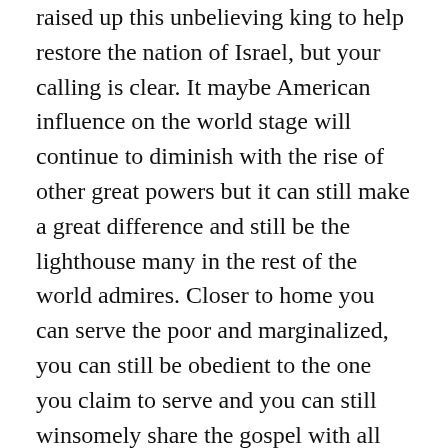raised up this unbelieving king to help restore the nation of Israel, but your calling is clear. It maybe American influence on the world stage will continue to diminish with the rise of other great powers but it can still make a great difference and still be the lighthouse many in the rest of the world admires. Closer to home you can serve the poor and marginalized, you can still be obedient to the one you claim to serve and you can still winsomely share the gospel with all and sundry, maybe more than ever before. But most of all you must take to heart what your country's motto says: “In God we trust”.